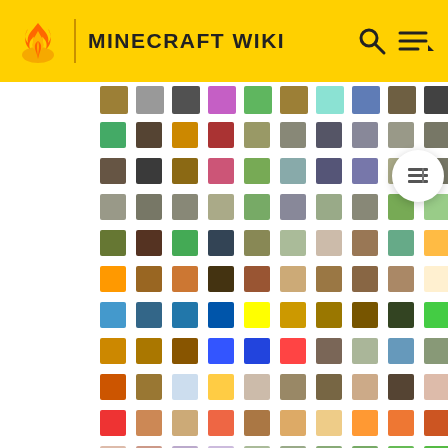MINECRAFT WIKI
[Figure (screenshot): Minecraft Wiki website screenshot showing the yellow header with flame logo and MINECRAFT WIKI title, search and menu icons, and a large grid of Minecraft item/block icons filling the page content area]